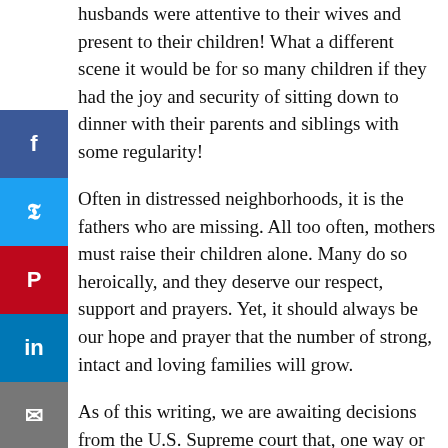husbands were attentive to their wives and present to their children! What a different scene it would be for so many children if they had the joy and security of sitting down to dinner with their parents and siblings with some regularity!
Often in distressed neighborhoods, it is the fathers who are missing. All too often, mothers must raise their children alone. Many do so heroically, and they deserve our respect, support and prayers. Yet, it should always be our hope and prayer that the number of strong, intact and loving families will grow.
As of this writing, we are awaiting decisions from the U.S. Supreme court that, one way or another, will affect the future of marriage. Already so-called same-sex marriage has become legal in a number of states. We should be rightfully worried, lest the high court open the door to legalizing same-sex marriage throughout the country, a move that will accelerate the movement for same-sex marriage around the world. To do so is to engage in massive social